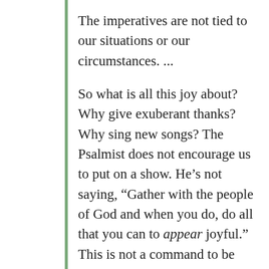The imperatives are not tied to our situations or our circumstances. ...
So what is all this joy about? Why give exuberant thanks? Why sing new songs? The Psalmist does not encourage us to put on a show. He’s not saying, “Gather with the people of God and when you do, do all that you can to appear joyful.” This is not a command to be disingenuous. The Psalmist and God expect us to experience joy–real joy–as we shout and give thanks and sing. And so the rest of the Psalm tells us why we should